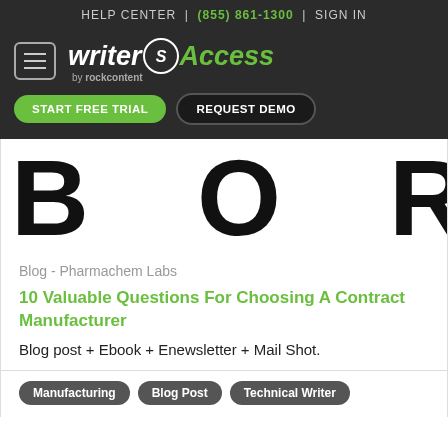HELP CENTER | (855) 861-1300 | SIGN IN
[Figure (logo): WriterAccess by rockcontent logo with hamburger menu, START FREE TRIAL and REQUEST DEMO buttons on dark background]
[Figure (other): Large partially visible text reading 'BORA' in heavy black font]
Blog - Pharmachem Labs
10 Valuable Questions For Choosing A Contract Manufacturer
Blog post + Ebook + Enewsletter + Mail Shot.
Manufacturing
Blog Post
Technical Writer